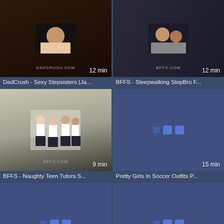[Figure (screenshot): Video thumbnail grid - Row 1 Left: DadCrush video thumbnail showing people, duration 12 min, watermark DADCRUSH.COM]
DadCrush - Sexy Stepsisters (Ja...
[Figure (screenshot): Video thumbnail grid - Row 1 Right: BFFS video thumbnail, duration 12 min, watermark BFFS.COM]
BFFS - Sleepwalking StepBro F...
[Figure (screenshot): Video thumbnail grid - Row 2 Left: BFFS video showing girls in school uniforms, duration 9 min, watermark BFFS.COM]
BFFS - Naughty Teen Tutors S...
[Figure (screenshot): Video thumbnail grid - Row 2 Right: Loading placeholder with dots, duration 15 min]
Pretty Girls In Soccer Outfits P...
[Figure (screenshot): Video thumbnail grid - Row 3 Left: Loading placeholder with dots, duration 7 min]
Teen Best Friends Road Trip O...
[Figure (screenshot): Video thumbnail grid - Row 3 Right: Loading placeholder with dots, duration 10 min]
PunishTeens- Amateur Teen (...
[Figure (screenshot): Video thumbnail grid - Row 4 Left: partial thumbnail showing people, scroll-to-top button overlay]
[Figure (screenshot): Video thumbnail grid - Row 4 Right: partial thumbnail showing people]